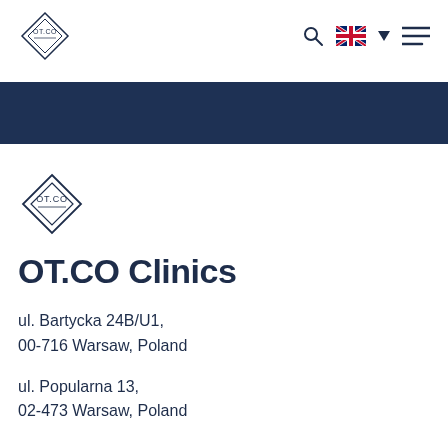[Figure (logo): OT.CO diamond shaped logo in navbar]
[Figure (logo): OT.CO diamond shaped logo in main content area]
OT.CO Clinics
ul. Bartycka 24B/U1,
00-716 Warsaw, Poland
ul. Popularna 13,
02-473 Warsaw, Poland